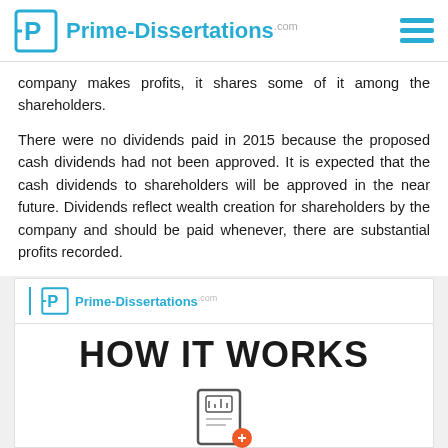Prime-Dissertations.com
company makes profits, it shares some of it among the shareholders.
There were no dividends paid in 2015 because the proposed cash dividends had not been approved. It is expected that the cash dividends to shareholders will be approved in the near future. Dividends reflect wealth creation for shareholders by the company and should be paid whenever, there are substantial profits recorded.
[Figure (logo): Prime-Dissertations.com logo with HOW IT WORKS heading and order icon]
HOW IT WORKS